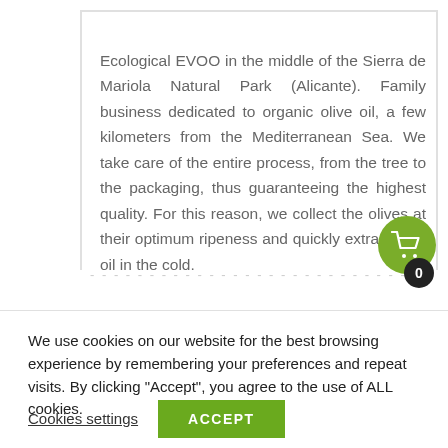Ecological EVOO in the middle of the Sierra de Mariola Natural Park (Alicante). Family business dedicated to organic olive oil, a few kilometers from the Mediterranean Sea. We take care of the entire process, from the tree to the packaging, thus guaranteeing the highest quality. For this reason, we collect the olives at their optimum ripeness and quickly extract their oil in the cold.
We use cookies on our website for the best browsing experience by remembering your preferences and repeat visits. By clicking "Accept", you agree to the use of ALL cookies.
Cookies settings
ACCEPT